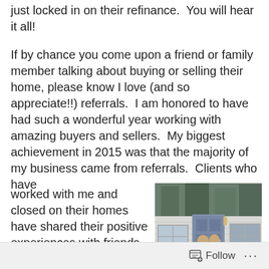of what an amazing mortgage interest rate someone just locked in on their refinance.  You will hear it all!
If by chance you come upon a friend or family member talking about buying or selling their home, please know I love (and so appreciate!!) referrals.  I am honored to have had such a wonderful year working with amazing buyers and sellers.  My biggest achievement in 2015 was that the majority of my business came from referrals.  Clients who have worked with me and closed on their homes have shared their positive experiences with friends, family, neighbors, co-workers, and customers.  Even my clients who were active in the purchase, selling, or
[Figure (photo): A couple standing on the front steps of a house with white siding and a blue door, surrounded by trees.]
Follow ...